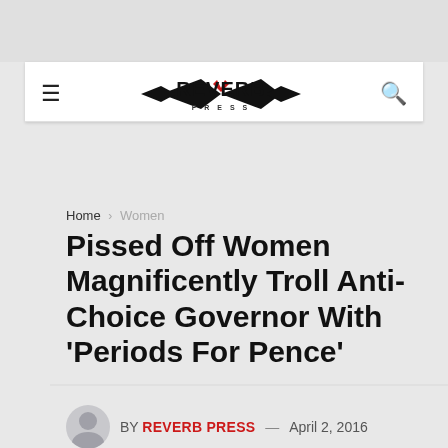[Figure (logo): Reverb Press logo — stylized wing/arrow mark with red chevron and text 'REVERB PRESS' in bold black lettering]
Home > Women
Pissed Off Women Magnificently Troll Anti-Choice Governor With 'Periods For Pence'
BY REVERB PRESS — April 2, 2016
[Figure (photo): Partial photo of a white-haired man against a light blue background]